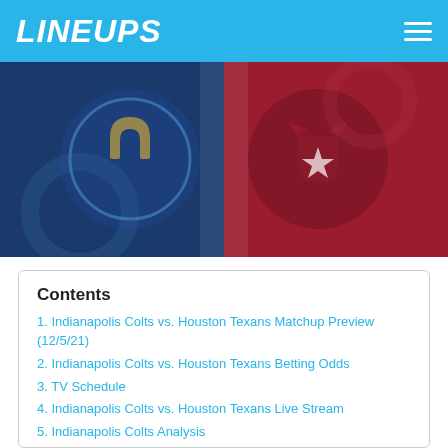LINEUPS
[Figure (illustration): Split image showing Indianapolis Colts (blue, left) and Houston Texans (red, right) team logos/colors side by side]
Contents
1. Indianapolis Colts vs. Houston Texans Matchup Preview (12/5/21)
2. Indianapolis Colts vs. Houston Texans Betting Odds
3. TV Schedule
4. Indianapolis Colts vs. Houston Texans Live Stream
5. Indianapolis Colts Analysis
6. Indianapolis Colts Depth Chart
7. Houston Texans Analysis
8. Houston Texans Depth Chart
9. Indianapolis Colts vs. Houston Texans Daily Fantasy Picks